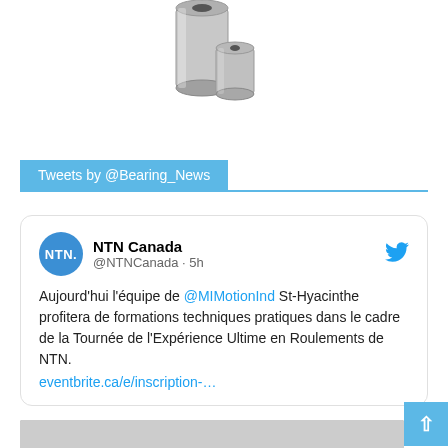[Figure (photo): Cylindrical metal rollers/sleeves components, steel colored, product photo on white background]
Tweets by @Bearing_News
NTN Canada @NTNCanada · 5h
Aujourd'hui l'équipe de @MIMotionInd St-Hyacinthe profitera de formations techniques pratiques dans le cadre de la Tournée de l'Expérience Ultime en Roulements de NTN.
eventbrite.ca/e/inscription-…